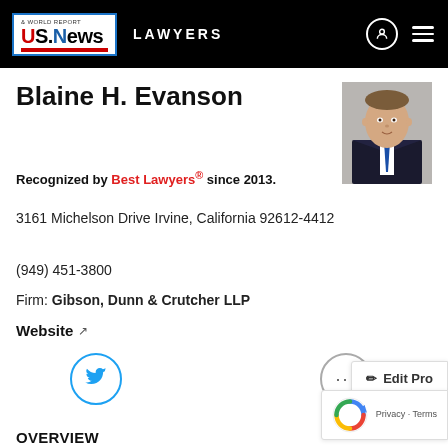US News & World Report — LAWYERS
Blaine H. Evanson
Recognized by Best Lawyers® since 2013.
3161 Michelson Drive Irvine, California 92612-4412
(949) 451-3800
Firm: Gibson, Dunn & Crutcher LLP
Website
[Figure (photo): Headshot photo of Blaine H. Evanson in a dark suit with blue tie, grey background]
OVERVIEW